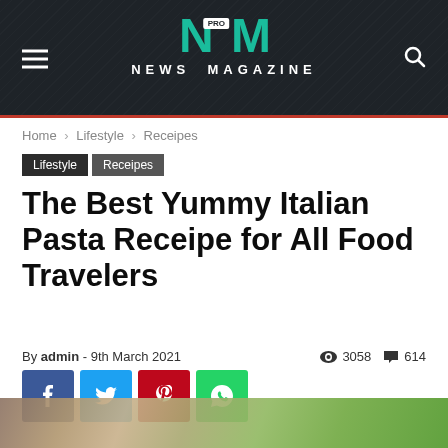NEWS MAGAZINE
Home › Lifestyle › Receipes
Lifestyle   Receipes
The Best Yummy Italian Pasta Receipe for All Food Travelers
By admin - 9th March 2021  👁 3058  💬 614
[Figure (illustration): Bottom partial photo of a food/outdoor scene]
[Figure (logo): NM PRO News Magazine logo with teal letters on dark background]